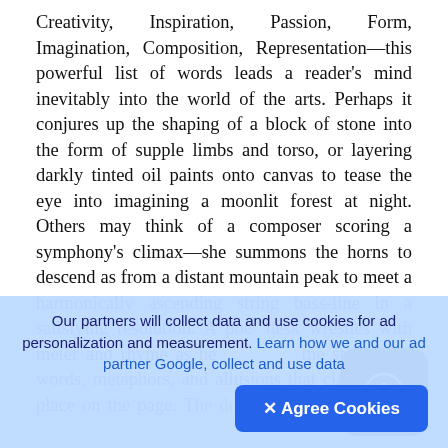Creativity, Inspiration, Passion, Form, Imagination, Composition, Representation—this powerful list of words leads a reader's mind inevitably into the world of the arts. Perhaps it conjures up the shaping of a block of stone into the form of supple limbs and torso, or layering darkly tinted oil paints onto canvas to tease the eye into imagining a moonlit forest at night. Others may think of a composer scoring a symphony's climax—she summons the horns to descend as from a distant mountain peak to meet a harmonically ascending string bass-line in a satisfying resolution. A poet at his desk wrestles with meter and rhyme as he navigates the streams of words, metaphors, and allusions that clamour for place on the page. The double miracle of artistic creation that it all seems to come
Our partners will collect data and use cookies for ad personalization and measurement. Learn how we and our ad partner Google, collect and use data